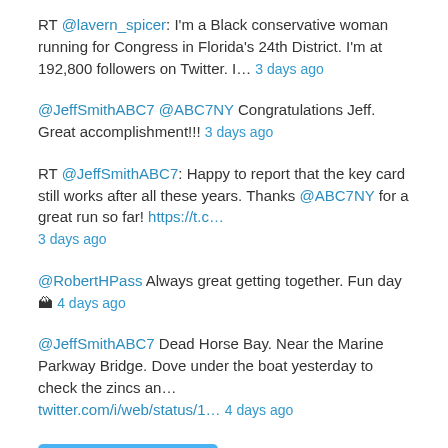RT @lavern_spicer: I'm a Black conservative woman running for Congress in Florida's 24th District. I'm at 192,800 followers on Twitter. I… 3 days ago
@JeffSmithABC7 @ABC7NY Congratulations Jeff. Great accomplishment!!! 3 days ago
RT @JeffSmithABC7: Happy to report that the key card still works after all these years. Thanks @ABC7NY for a great run so far! https://t.c… 3 days ago
@RobertHPass Always great getting together. Fun day🏔 4 days ago
@JeffSmithABC7 Dead Horse Bay. Near the Marine Parkway Bridge. Dove under the boat yesterday to check the zincs an… twitter.com/i/web/status/1… 4 days ago
Follow @cjujitsu
Archives